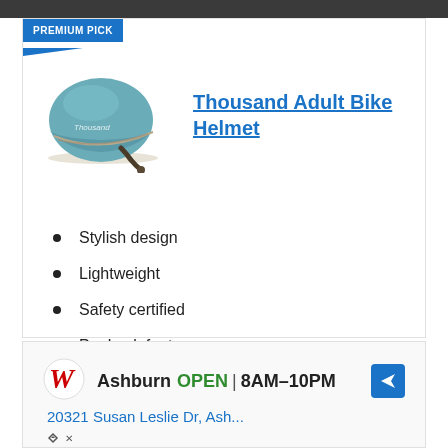PREMIUM PICK
[Figure (photo): Teal/blue Thousand Adult Bike Helmet shown from the side with a brim]
Thousand Adult Bike Helmet
Stylish design
Lightweight
Safety certified
PopLock feature
[Figure (screenshot): Walgreens advertisement showing Ashburn store OPEN 8AM-10PM at 20321 Susan Leslie Dr, Ash...]